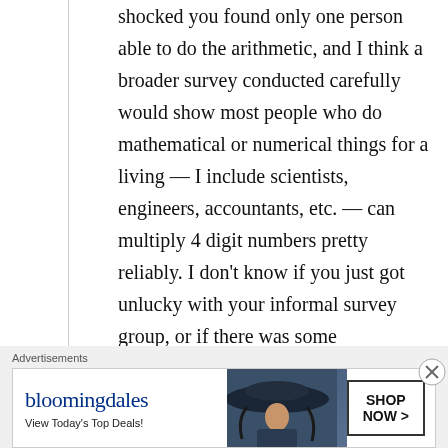shocked you found only one person able to do the arithmetic, and I think a broader survey conducted carefully would show most people who do mathematical or numerical things for a living — I include scientists, engineers, accountants, etc. — can multiply 4 digit numbers pretty reliably. I don't know if you just got unlucky with your informal survey group, or if there was some confounding factor going on, or, I suppose one other possibility, it's just
[Figure (other): Bloomingdale's advertisement banner reading 'bloomingdales - View Today's Top Deals!' with a woman wearing a large brimmed hat and a 'SHOP NOW >' button]